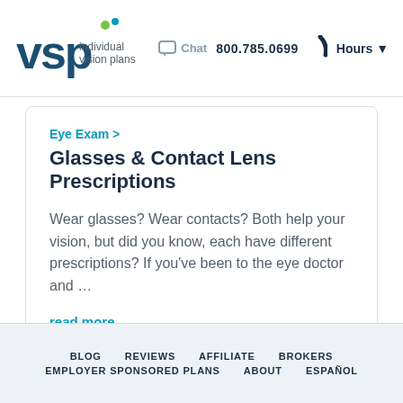VSP Individual Vision Plans | Chat | 800.785.0699 | Hours
Eye Exam >
Glasses & Contact Lens Prescriptions
Wear glasses? Wear contacts? Both help your vision, but did you know, each have different prescriptions? If you've been to the eye doctor and …
read more
BLOG | REVIEWS | AFFILIATE | BROKERS | EMPLOYER SPONSORED PLANS | ABOUT | ESPAÑOL